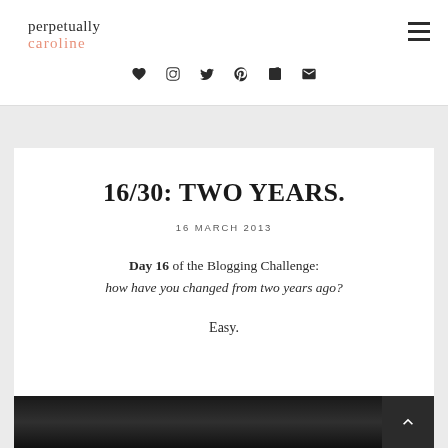perpetually caroline
[Figure (logo): Blog logo: 'perpetually' in dark gray serif text, 'caroline' in salmon/coral color below]
[Figure (infographic): Row of social media icons: heart, Instagram, Twitter, Pinterest, Facebook, email envelope]
16/30: TWO YEARS.
16 MARCH 2013
Day 16 of the Blogging Challenge: how have you changed from two years ago?
Easy.
[Figure (photo): Dark crowd photo at the bottom of the page]